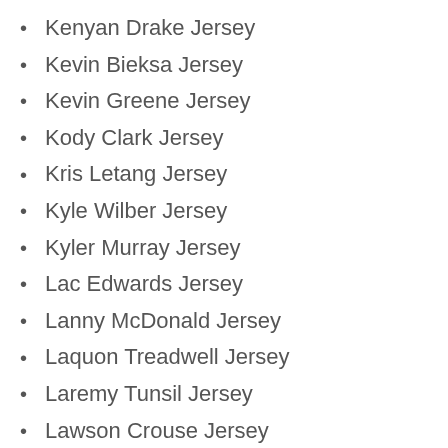Kenyan Drake Jersey
Kevin Bieksa Jersey
Kevin Greene Jersey
Kody Clark Jersey
Kris Letang Jersey
Kyle Wilber Jersey
Kyler Murray Jersey
Lac Edwards Jersey
Lanny McDonald Jersey
Laquon Treadwell Jersey
Laremy Tunsil Jersey
Lawson Crouse Jersey
Logan Forsythe Jersey
Lorenzo Cain Jersey